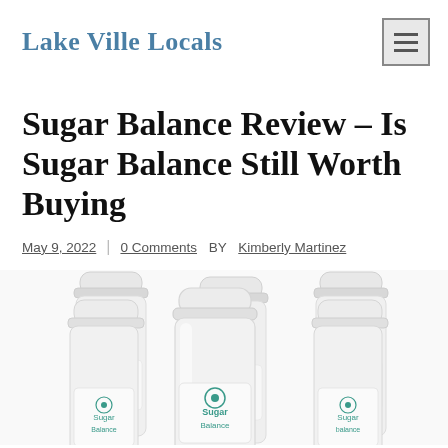Lake Ville Locals
Sugar Balance Review – Is Sugar Balance Still Worth Buying
May 9, 2022 | 0 Comments BY Kimberly Martinez
[Figure (photo): Multiple white supplement bottles labeled 'Sugar Balance' arranged together, showing caps and partial labels with teal-colored logo/text]